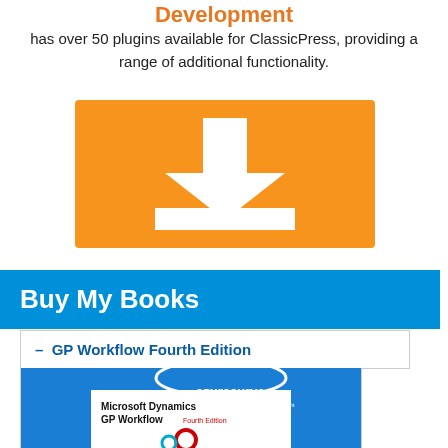Development
has over 50 plugins available for ClassicPress, providing a range of additional functionality.
[Figure (illustration): Orange download button icon with white downward arrow and white horizontal bar beneath it]
Buy My Books
– GP Workflow Fourth Edition
[Figure (photo): Book cover for Microsoft Dynamics GP Workflow Fourth Edition by azurecurve, showing the title text and gear/cog icons on a blue background]